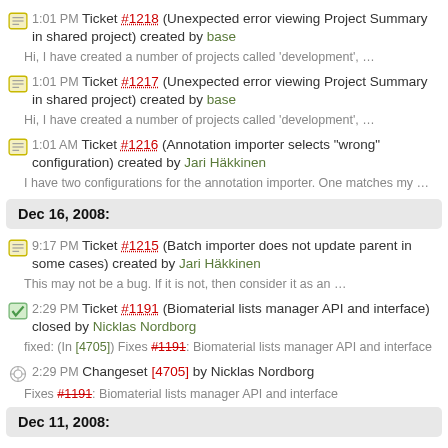1:01 PM Ticket #1218 (Unexpected error viewing Project Summary in shared project) created by base
Hi, I have created a number of projects called 'development', …
1:01 PM Ticket #1217 (Unexpected error viewing Project Summary in shared project) created by base
Hi, I have created a number of projects called 'development', …
1:01 AM Ticket #1216 (Annotation importer selects "wrong" configuration) created by Jari Häkkinen
I have two configurations for the annotation importer. One matches my …
Dec 16, 2008:
9:17 PM Ticket #1215 (Batch importer does not update parent in some cases) created by Jari Häkkinen
This may not be a bug. If it is not, then consider it as an …
2:29 PM Ticket #1191 (Biomaterial lists manager API and interface) closed by Nicklas Nordborg
fixed: (In [4705]) Fixes #1191: Biomaterial lists manager API and interface
2:29 PM Changeset [4705] by Nicklas Nordborg
Fixes #1191: Biomaterial lists manager API and interface
Dec 11, 2008: